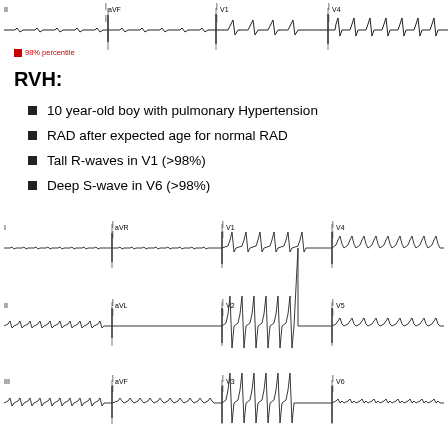[Figure (other): ECG strip at top of page showing multiple leads (II, aVF, V1, V4) with waveform tracings and vertical markers]
98% percentile
RVH:
10 year-old boy with pulmonary Hypertension
RAD after expected age for normal RAD
Tall R-waves in V1 (>98%)
Deep S-wave in V6 (>98%)
[Figure (other): Full 12-lead ECG strip showing three rows of leads: Row 1 (I, aVR, V1, V4), Row 2 (II, aVL, V2, V5), Row 3 (III, aVF, V3, V6) with characteristic RVH waveforms including tall R-waves in V1 and deep S-waves in V6]